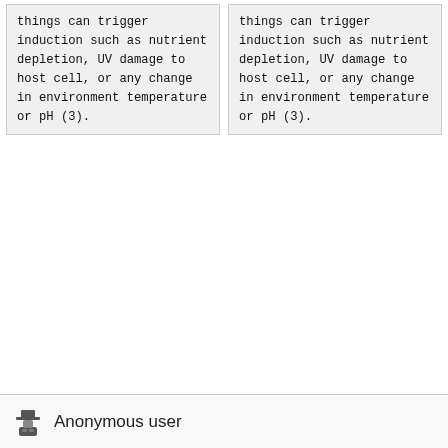things can trigger induction such as nutrient depletion, UV damage to host cell, or any change in environment temperature or pH (3).
things can trigger induction such as nutrient depletion, UV damage to host cell, or any change in environment temperature or pH (3).
Anonymous user